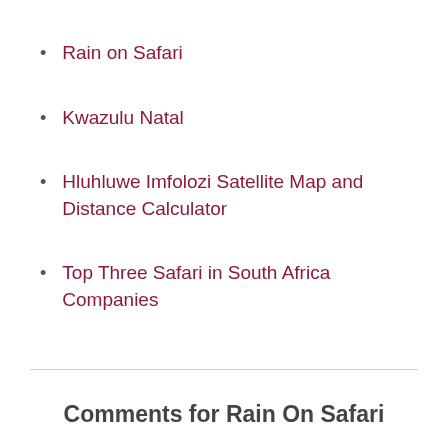Rain on Safari
Kwazulu Natal
Hluhluwe Imfolozi Satellite Map and Distance Calculator
Top Three Safari in South Africa Companies
Comments for Rain On Safari